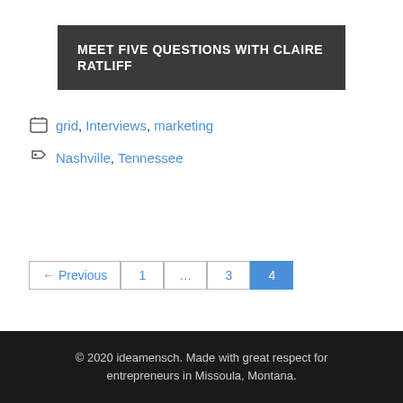MEET FIVE QUESTIONS WITH CLAIRE RATLIFF
Categories: grid, Interviews, marketing
Tags: Nashville, Tennessee
← Previous 1 … 3 4
© 2020 ideamensch. Made with great respect for entrepreneurs in Missoula, Montana.